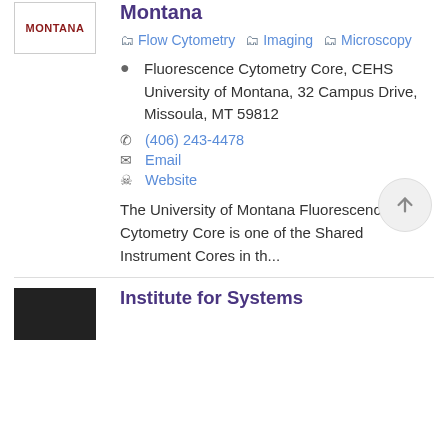[Figure (logo): University of Montana logo with text MONTANA in dark red]
Montana
Flow Cytometry
Imaging
Microscopy
Fluorescence Cytometry Core, CEHS University of Montana, 32 Campus Drive, Missoula, MT 59812
(406) 243-4478
Email
Website
The University of Montana Fluorescence Cytometry Core is one of the Shared Instrument Cores in th...
[Figure (logo): Dark/black logo box for Institute for Systems]
Institute for Systems